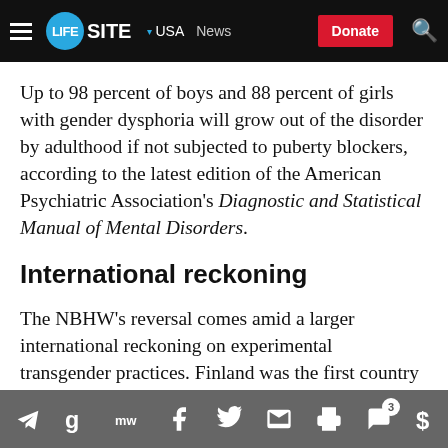LIFESITE — USA News — Donate
Up to 98 percent of boys and 88 percent of girls with gender dysphoria will grow out of the disorder by adulthood if not subjected to puberty blockers, according to the latest edition of the American Psychiatric Association's Diagnostic and Statistical Manual of Mental Disorders.
International reckoning
The NBHW's reversal comes amid a larger international reckoning on experimental transgender practices. Finland was the first country to reverse course and recommend against hormone blockers for